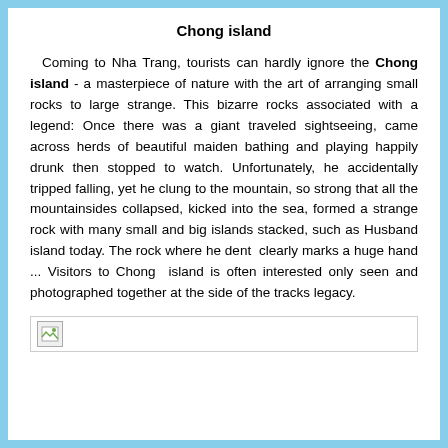Chong island
Coming to Nha Trang, tourists can hardly ignore the Chong island - a masterpiece of nature with the art of arranging small rocks to large strange. This bizarre rocks associated with a legend: Once there was a giant traveled sightseeing, came across herds of beautiful maiden bathing and playing happily drunk then stopped to watch. Unfortunately, he accidentally tripped falling, yet he clung to the mountain, so strong that all the mountainsides collapsed, kicked into the sea, formed a strange rock with many small and big islands stacked, such as Husband island today. The rock where he dent  clearly marks a huge hand ... Visitors to Chong  island is often interested only seen and photographed together at the side of the tracks legacy.
[Figure (photo): Broken image placeholder at the bottom of the page]